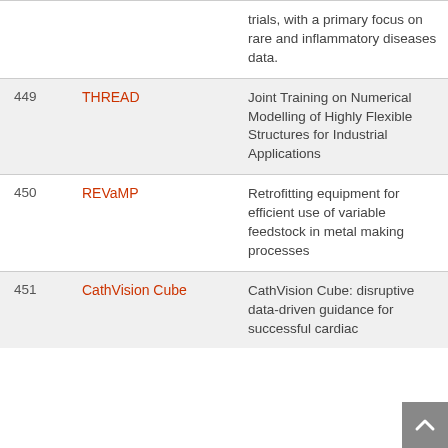| # | Name | Description |
| --- | --- | --- |
|  |  | trials, with a primary focus on rare and inflammatory diseases data. |
| 449 | THREAD | Joint Training on Numerical Modelling of Highly Flexible Structures for Industrial Applications |
| 450 | REVaMP | Retrofitting equipment for efficient use of variable feedstock in metal making processes |
| 451 | CathVision Cube | CathVision Cube: disruptive data-driven guidance for successful cardiac |